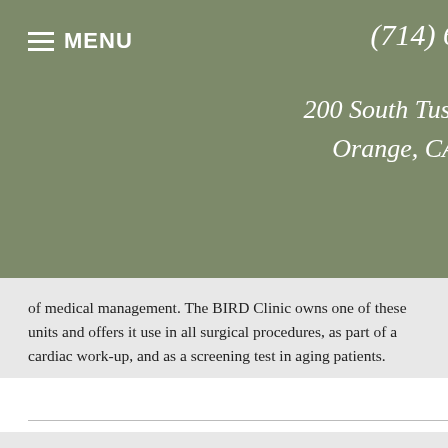≡ MENU   (714) 6...   200 South Tust... Orange, CA
of medical management. The BIRD Clinic owns one of these units and offers it use in all surgical procedures, as part of a cardiac work-up, and as a screening test in aging patients.
Copyright © 2022 MH Sub I, LLC dba Officite
Site Map
Privacy Policy
Disclaimer